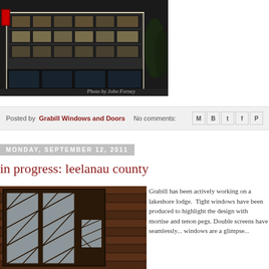[Figure (photo): Night photo of a multi-story commercial building illuminated with white lights, with text 'Photo by John Forney' watermark at bottom right]
Posted by Grabill Windows and Doors   No comments:
MONDAY, SEPTEMBER 12, 2011
in progress: leelanau county
[Figure (photo): Interior photo of a rustic log cabin or lodge showing dark wood windows with diamond-pattern leaded glass panes]
Grabill has been actively working on a lakeshore lodge.  Tight windows have been produced to highlight the design with mortise and tenon pegs. Double screens have seamlessly... windows are a glimpse...